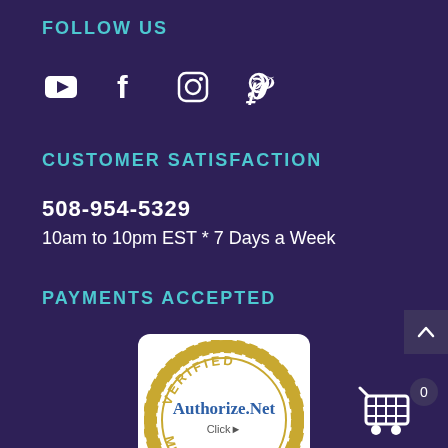FOLLOW US
[Figure (infographic): Social media icons: YouTube, Facebook, Instagram, Pinterest]
CUSTOMER SATISFACTION
508-954-5329
10am to 10pm EST * 7 Days a Week
PAYMENTS ACCEPTED
[Figure (logo): Authorize.Net Verified Merchant logo badge in gold/white]